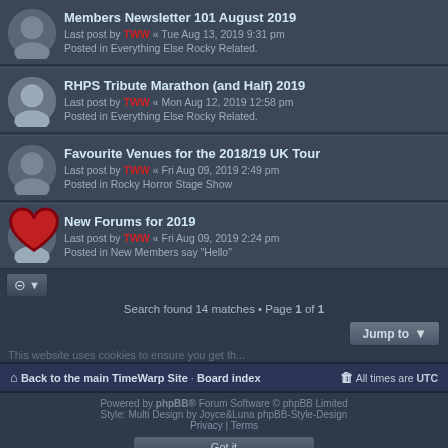Members Newsletter 101 August 2019
Last post by TWW « Tue Aug 13, 2019 9:31 pm
Posted in Everything Else Rocky Related.
RHPS Tribute Marathon (and Half) 2019
Last post by TWW « Mon Aug 12, 2019 12:58 pm
Posted in Everything Else Rocky Related.
Favourite Venues for the 2018/19 UK Tour
Last post by TWW « Fri Aug 09, 2019 2:49 pm
Posted in Rocky Horror Stage Show
New Forums for 2019
Last post by TWW « Fri Aug 09, 2019 2:24 pm
Posted in New Members say "Hello"
Search found 14 matches • Page 1 of 1
Jump to
This website uses cookies to ensure you get th...
Back to the main TimeWarp Site · Board index    All times are UTC
Powered by phpBB® Forum Software © phpBB Limited
Style: Multi Design by Joyce&Luna phpBB-Style-Design
Privacy | Terms